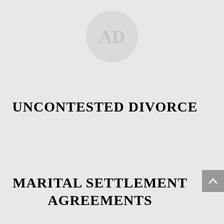[Figure (logo): Circular logo watermark at top center, light gray with stylized letters inside]
UNCONTESTED DIVORCE
MARITAL SETTLEMENT AGREEMENTS